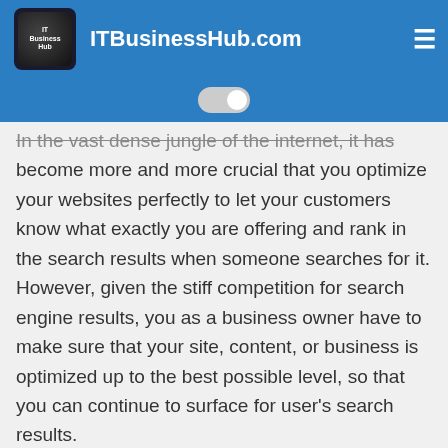ITBusinessHub.com
In the vast dense jungle of the internet, it has become more and more crucial that you optimize your websites perfectly to let your customers know what exactly you are offering and rank in the search results when someone searches for it. However, given the stiff competition for search engine results, you as a business owner have to make sure that your site, content, or business is optimized up to the best possible level, so that you can continue to surface for user’s search results.
To optimize for SEO, various SEO tools or Search Engine Optimization software...